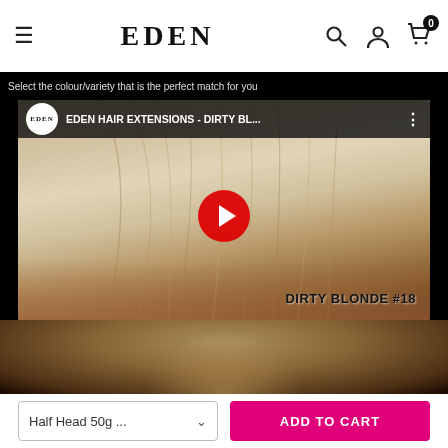EDEN
EDEN HAIR EXTENSIONS - DIRTY BL...
[Figure (screenshot): YouTube video thumbnail showing hands holding a bundle of dirty blonde hair extensions with a red YouTube play button in the center. Text 'DIRTY BLONDE #18' in bottom right corner. Video title: 'EDEN HAIR EXTENSIONS - DIRTY BL...' with EDEN logo circle on left.]
[Figure (photo): Partial photo of a woman with blonde hair, shoulders visible, dark background.]
Half Head 50g ...
ADD TO CART